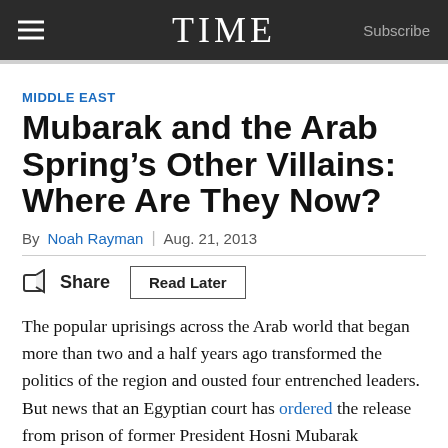TIME  Subscribe
MIDDLE EAST
Mubarak and the Arab Spring’s Other Villains: Where Are They Now?
By Noah Rayman | Aug. 21, 2013
Share  Read Later
The popular uprisings across the Arab world that began more than two and a half years ago transformed the politics of the region and ousted four entrenched leaders. But news that an Egyptian court has ordered the release from prison of former President Hosni Mubarak underscores the extent to which the glow